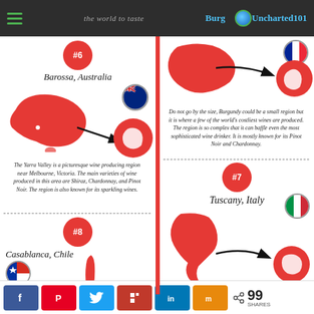Uncharted101 - travel infographic page header
[Figure (infographic): Left column: #6 Barossa, Australia with map of Australia, zoomed circle of Barossa region, Australian flag. Description text about Yarra Valley. Dotted separator. #8 Casablanca, Chile with map of Chile, Chilean flag.]
[Figure (infographic): Right column: Burgundy France region map with zoomed circle, French flag. Description about Burgundy wines. Dotted separator. #7 Tuscany, Italy with map of Italy, zoomed circle of Tuscany, Italian flag.]
The Yarra Valley is a picturesque wine producing region near Melbourne, Victoria. The main varieties of wine produced in this area are Shiraz, Chardonnay, and Pinot Noir. The region is also known for its sparkling wines.
Do not go by the size, Burgundy could be a small region but it is where a few of the world's costliest wines are produced. The region is so complex that it can baffle even the most sophisticated wine drinker. It is mostly known for its Pinot Noir and Chardonnay.
99 SHARES — social share buttons: Facebook, Pinterest, Twitter, Flipboard, LinkedIn, Mix